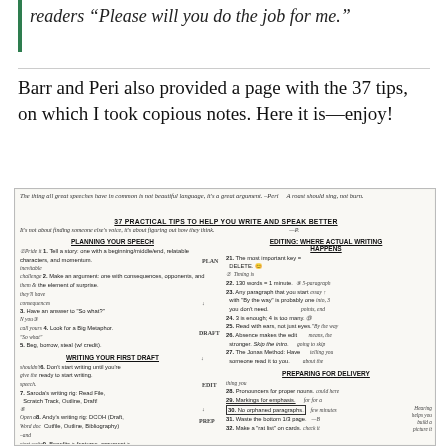readers "Please will you do the job for me."
Barr and Peri also provided a page with the 37 tips, on which I took copious notes. Here it is—enjoy!
[Figure (photo): A scanned/photographed page titled '37 PRACTICAL TIPS TO HELP YOU WRITE AND SPEAK BETTER' with handwritten notes in the margins. The page is divided into sections: PLANNING YOUR SPEECH (tips 1-5), WRITING YOUR FIRST DRAFT (tips 6-10+), EDITING: WHERE ACTUAL WRITING HAPPENS (tips 21-27), and PREPARING FOR DELIVERY (tips 28-32). Extensive handwritten annotations appear throughout the margins and between lines.]